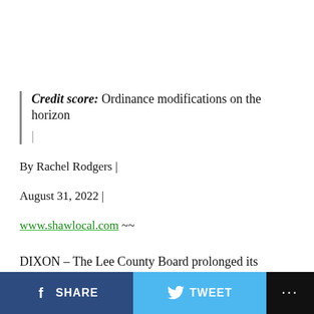Credit score: Ordinance modifications on the horizon
By Rachel Rodgers |
August 31, 2022 |
www.shawlocal.com ~~
DIXON – The Lee County Board prolonged its moratorium on {solar}, wind and battery storage
SHARE  TWEET  ...